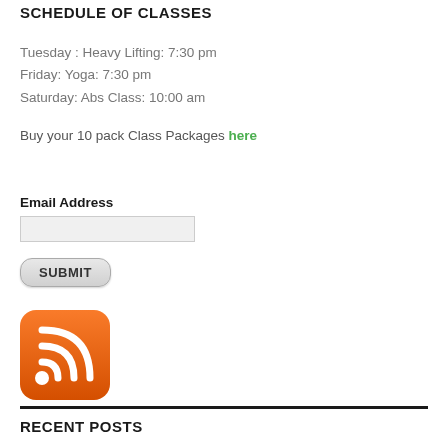SCHEDULE OF CLASSES
Tuesday : Heavy Lifting: 7:30 pm
Friday: Yoga: 7:30 pm
Saturday: Abs Class: 10:00 am
Buy your 10 pack Class Packages here
Email Address
[Figure (other): Email address input field]
[Figure (other): Submit button]
[Figure (logo): RSS feed orange icon with white wifi/signal bars]
RECENT POSTS